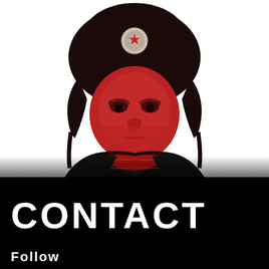[Figure (photo): High-contrast red and black photo of a man wearing a Russian ushanka fur hat with a Soviet-style badge/emblem on the front. The man is looking directly at the camera with a stern expression. He is wearing a dark jacket and a patterned scarf. The image is stylized with strong red tones against a white background.]
CONTACT
Follow